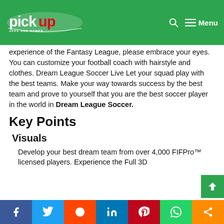PickUp Apps and Games — Menu
experience of the Fantasy League, please embrace your eyes. You can customize your football coach with hairstyle and clothes. Dream League Soccer Live Let your squad play with the best teams. Make your way towards success by the best team and prove to yourself that you are the best soccer player in the world in Dream League Soccer.
Key Points
Visuals
Develop your best dream team from over 4,000 FIFPro™ licensed players. Experience the Full 3D...